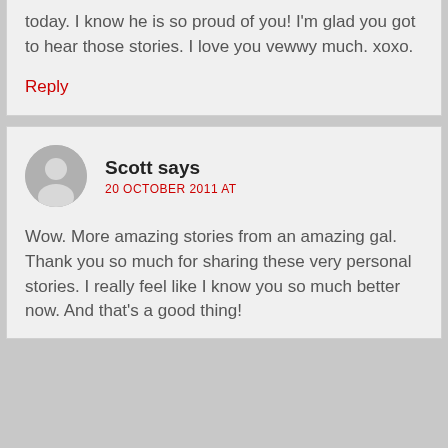today. I know he is so proud of you! I'm glad you got to hear those stories. I love you vewwy much. xoxo.
Reply
Scott says
20 OCTOBER 2011 AT
Wow. More amazing stories from an amazing gal. Thank you so much for sharing these very personal stories. I really feel like I know you so much better now. And that's a good thing!